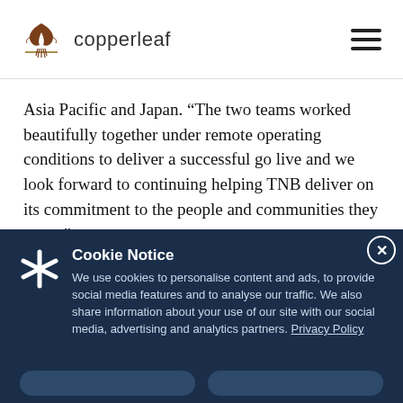copperleaf
Asia Pacific and Japan. “The two teams worked beautifully together under remote operating conditions to deliver a successful go live and we look forward to continuing helping TNB deliver on its commitment to the people and communities they serve.”
Cookie Notice
We use cookies to personalise content and ads, to provide social media features and to analyse our traffic. We also share information about your use of our site with our social media, advertising and analytics partners. Privacy Policy